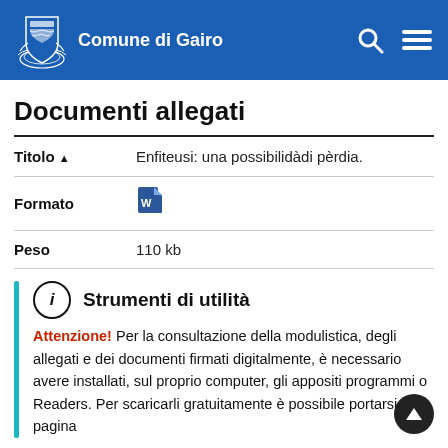Comune di Gairo
Documenti allegati
|  |  |
| --- | --- |
| Titolo ▲ | Enfiteusi: una possibilidàdi pèrdia. |
| Formato | [icona Word] |
| Peso | 110 kb |
Strumenti di utilità
Attenzione! Per la consultazione della modulistica, degli allegati e dei documenti firmati digitalmente, è necessario avere installati, sul proprio computer, gli appositi programmi o Readers. Per scaricarli gratuitamente è possibile portarsi alla pagina